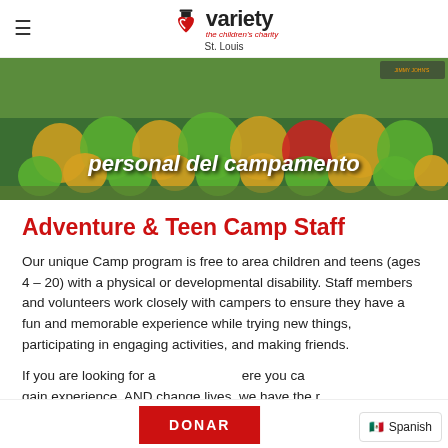variety the children's charity St. Louis
[Figure (photo): Group photo of camp children and staff in yellow and green shirts on a baseball field, with some children in wheelchairs. Text overlay reads 'personal del campamento']
Adventure & Teen Camp Staff
Our unique Camp program is free to area children and teens (ages 4 – 20) with a physical or developmental disability. Staff members and volunteers work closely with campers to ensure they have a fun and memorable experience while trying new things, participating in engaging activities, and making friends.
If you are looking for a [DONAR button] ere you ca gain experience, AND change lives, we have the r